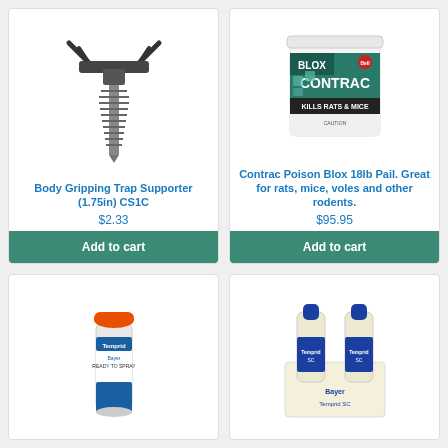[Figure (photo): Body Gripping Trap Supporter (1.75in) CS1C product photo showing a metal screw-type mounting device with gripping prongs on top]
Body Gripping Trap Supporter (1.75in) CS1C
$2.33
Add to cart
[Figure (photo): Contrac Poison Blox 18lb Pail product photo showing a white bucket with teal/green label reading BLOX CONTRAC, KILLS RATS & MICE, Bell logo]
Contrac Poison Blox 18lb Pail. Great for rats, mice, voles and other rodents.
$95.95
Add to cart
[Figure (photo): Temprid Ready-to-Spray aerosol can with orange cap, white and blue label, Bayer Temprid branding]
[Figure (photo): Temprid SC concentrate dual bottle product, two blue-capped bottles in a white carrier tray, Bayer Temprid SC branding]